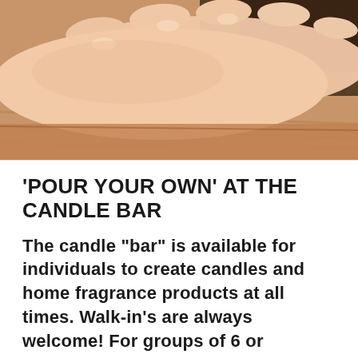[Figure (photo): Close-up photo of a human hand resting on a wooden surface, showing fingers with soft warm skin tones and blurred background]
'POUR YOUR OWN' AT THE CANDLE BAR
The candle “bar” is available for individuals to create candles and home fragrance products at all times. Walk-in's are always welcome! For groups of 6 or